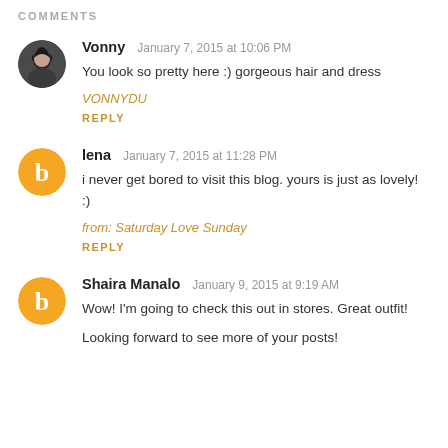COMMENTS
Vonny  January 7, 2015 at 10:06 PM
You look so pretty here :) gorgeous hair and dress
VONNYDU
REPLY
lena  January 7, 2015 at 11:28 PM
i never get bored to visit this blog. yours is just as lovely! :)
from: Saturday Love Sunday
REPLY
Shaira Manalo  January 9, 2015 at 9:19 AM
Wow! I'm going to check this out in stores. Great outfit!
Looking forward to see more of your posts!